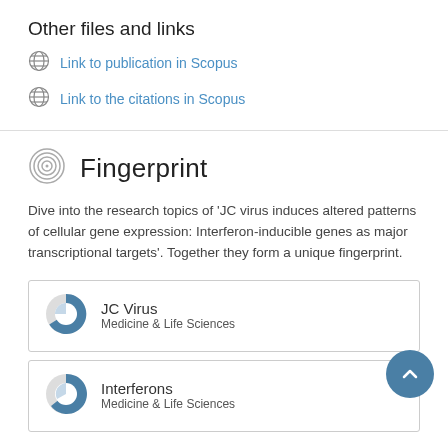Other files and links
Link to publication in Scopus
Link to the citations in Scopus
Fingerprint
Dive into the research topics of 'JC virus induces altered patterns of cellular gene expression: Interferon-inducible genes as major transcriptional targets'. Together they form a unique fingerprint.
JC Virus
Medicine & Life Sciences
Interferons
Medicine & Life Sciences